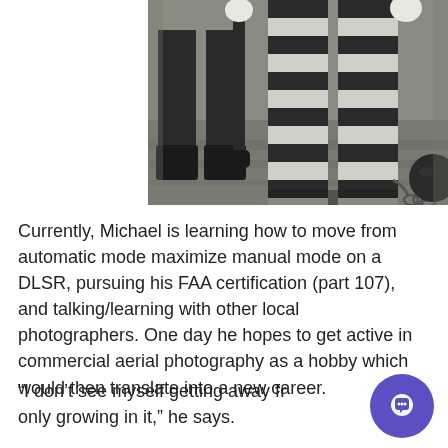[Figure (photo): Black and white photo showing lower bodies: a police officer in dark uniform holding a baton on the left, and a person in black-and-white striped prisoner outfit with a ball and chain on the right, standing on stone steps.]
Currently, Michael is learning how to move from automatic mode maximize manual mode on a DLSR, pursuing his FAA certification (part 107), and talking/learning with other local photographers. One day he hopes to get active in commercial aerial photography as a hobby which would then translate into a new career.
“I don’t see myself getting away from it, only growing in it,” he says.